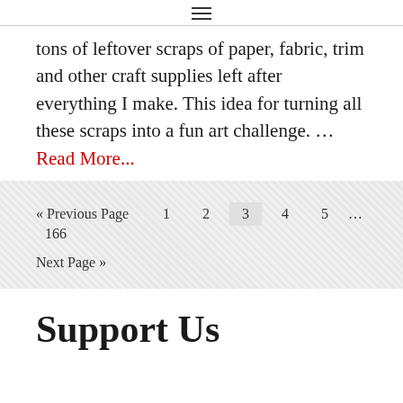≡
tons of leftover scraps of paper, fabric, trim and other craft supplies left after everything I make. This idea for turning all these scraps into a fun art challenge. … Read More...
« Previous Page  1  2  3  4  5  …  166  Next Page »
Support Us